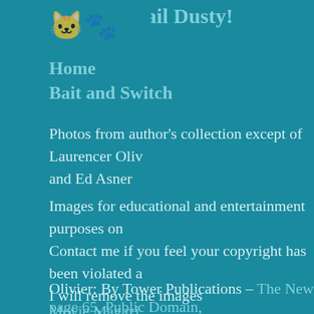Hail Dusty!
Home
Bait and Switch
Photos from author's collection except of Laurencer Oliv and Ed Asner
Images for educational and entertainment purposes only. Contact me if you feel your copyright has been violated and I will remove the images
Olivier:  By Tower Publications – The New Movie Magazine page 65, Public Domain,
https://...commons.wikimedia.org/w/index.php?curid=...
Asner: